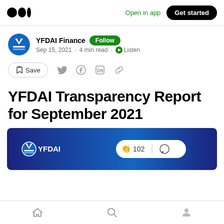Open in app  Get started
YFDAI Finance  Follow
Sep 15, 2021 · 4 min read · Listen
Save
YFDAI Transparency Report for September 2021
[Figure (screenshot): YFDAI Finance banner with logo, 102 claps icon and comment icon on dark blue gradient background]